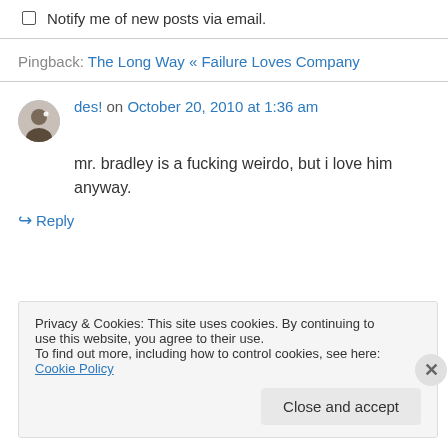Notify me of new posts via email.
Pingback: The Long Way « Failure Loves Company
des! on October 20, 2010 at 1:36 am
mr. bradley is a fucking weirdo, but i love him anyway.
↳ Reply
Privacy & Cookies: This site uses cookies. By continuing to use this website, you agree to their use.
To find out more, including how to control cookies, see here: Cookie Policy